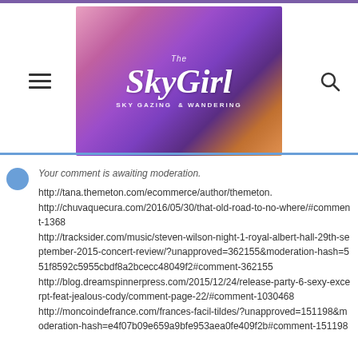[Figure (logo): The SkyGirl blog banner — purple/pink sky background with text 'The SkyGirl SKY GAZING & WANDERING' in white]
Your comment is awaiting moderation.
http://tana.themeton.com/ecommerce/author/themeton.
http://chuvaquecura.com/2016/05/30/that-old-road-to-no-where/#comment-1368
http://tracksider.com/music/steven-wilson-night-1-royal-albert-hall-29th-september-2015-concert-review/?unapproved=362155&moderation-hash=551f8592c5955cbdf8a2bcecc48049f2#comment-362155
http://blog.dreamspinnerpress.com/2015/12/24/release-party-6-sexy-excerpt-feat-jealous-cody/comment-page-22/#comment-1030468
http://moncoindefrance.com/frances-facil-tildes/?unapproved=151198&moderation-hash=e4f07b09e659a9bfe953aea0fe409f2b#comment-151198